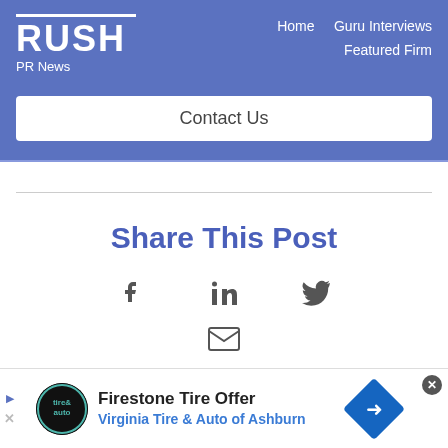RUSH PR News — Home | Guru Interviews | Featured Firm
Contact Us
Share This Post
[Figure (infographic): Social share icons: Facebook, LinkedIn, Twitter, and Email]
[Figure (infographic): Advertisement: Firestone Tire Offer — Virginia Tire & Auto of Ashburn]